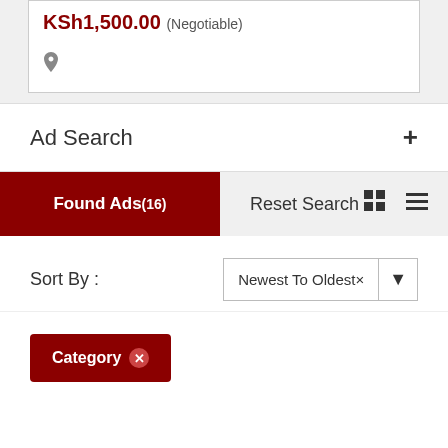KSh1,500.00 (Negotiable)
Ad Search +
Found Ads(16)
Reset Search
Sort By :
Newest To Oldest×
Category ×